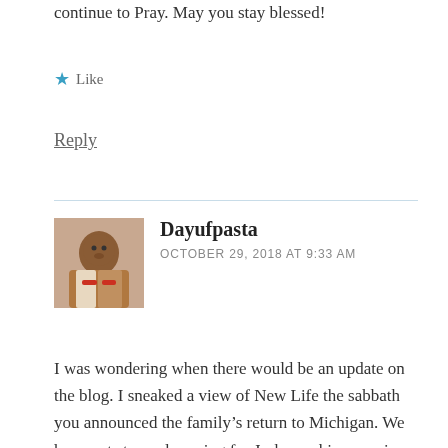continue to Pray. May you stay blessed!
★ Like
Reply
Dayufpasta
OCTOBER 29, 2018 AT 9:33 AM
I was wondering when there would be an update on the blog. I sneaked a view of New Life the sabbath you announced the family's return to Michigan. We have not stopped praying for Jesher as his name is written on the prayer wall of our house. Take courage and continue to chart the course. You are "nearing home." Then there will be a new journey to undertake, but isn't that life? Blessings!